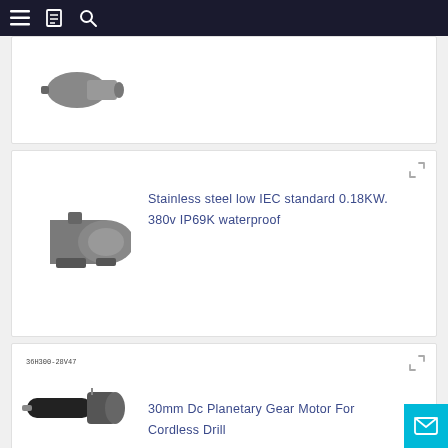Navigation bar with menu, bookmark, and search icons
[Figure (photo): Partial product card showing a motor image at the top]
[Figure (photo): Stainless steel low IEC standard motor product image]
Stainless steel low IEC standard 0.18KW. 380v IP69K waterproof
[Figure (photo): 30mm DC Planetary Gear Motor product image with label 36H300-28V47]
30mm Dc Planetary Gear Motor For Cordless Drill
[Figure (photo): High Efficiency Three Phase Drip-proof motor product image (teal colored motor)]
High Efficiency Three Phase Drip-proof 1HP to 20HP EPACT 143T to 256T Frame Motor
200W single phase ac motor electric break and